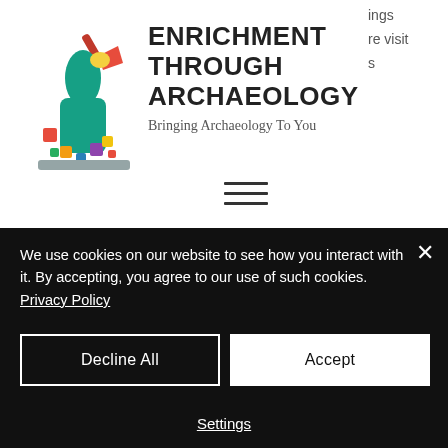[Figure (logo): Enrichment Through Archaeology logo: illustrated figure of a person digging with a trowel, with colorful mosaic/tile pieces around them]
ENRICHMENT THROUGH ARCHAEOLOGY
Bringing Archaeology To You
ings
re visit
s
It was then my turn! I was there to present the story of the community-based archaeology project based at Under Whitle in Sheen. Now some of you might know that Sheen is in
We use cookies on our website to see how you interact with it. By accepting, you agree to our use of such cookies. Privacy Policy
Decline All
Accept
Settings